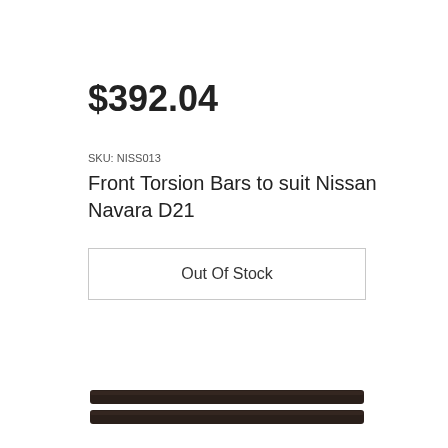$392.04
SKU: NISS013
Front Torsion Bars to suit Nissan Navara D21
Out Of Stock
[Figure (photo): Two dark-colored steel torsion bars shown horizontally side by side at the bottom of the page]